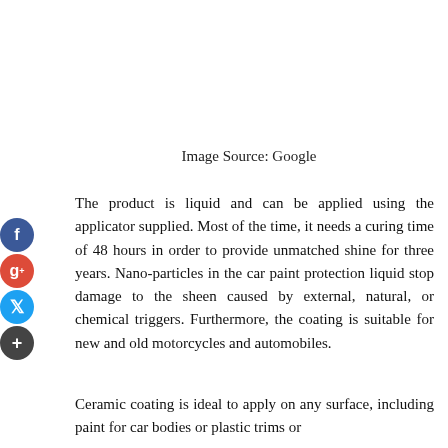Image Source: Google
The product is liquid and can be applied using the applicator supplied. Most of the time, it needs a curing time of 48 hours in order to provide unmatched shine for three years. Nano-particles in the car paint protection liquid stop damage to the sheen caused by external, natural, or chemical triggers. Furthermore, the coating is suitable for new and old motorcycles and automobiles.
Ceramic coating is ideal to apply on any surface, including paint for car bodies or plastic trims or